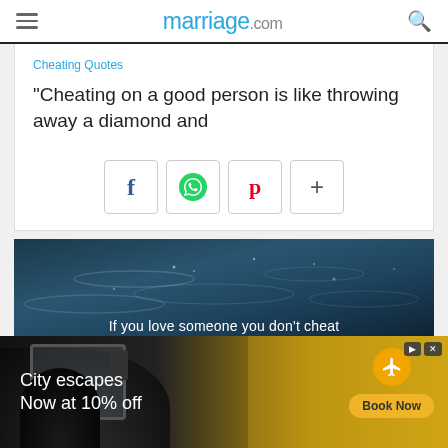marriage.com
Cheating Quotes
"Cheating on a good person is like throwing away a diamond and
[Figure (screenshot): Social share buttons: Facebook (f), WhatsApp (green circle phone icon), Pinterest (p), and plus (+) buttons with rounded square borders]
[Figure (photo): Dark water surface photo with text overlay: 'If you love someone you don't cheat']
[Figure (screenshot): Advertisement banner showing 'City escapes Now at 10% off' with Book Now button, car interior background, flight icon]